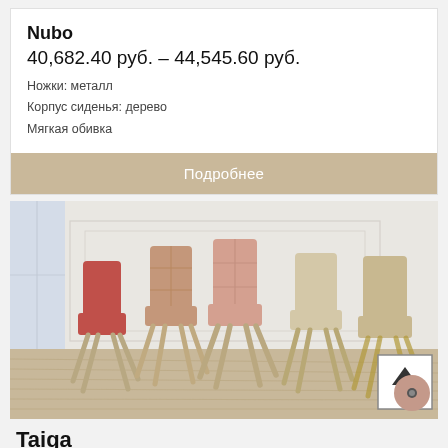Nubo
40,682.40 руб. – 44,545.60 руб.
Ножки: металл
Корпус сиденья: дерево
Мягкая обивка
Подробнее
[Figure (photo): Five modern upholstered dining chairs with wooden spider-leg bases arranged in a bright room with white paneled walls and light wood floor. Colors from left to right: red/coral, dusty pink (two chairs), beige/cream (two chairs).]
Taiga